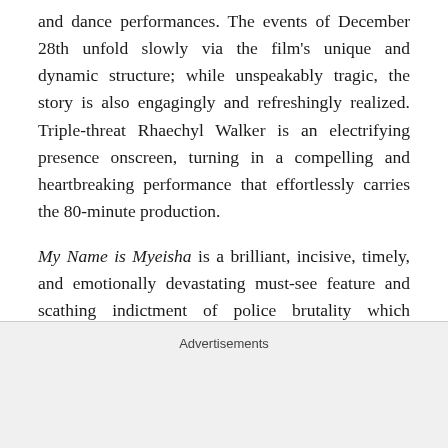and dance performances. The events of December 28th unfold slowly via the film's unique and dynamic structure; while unspeakably tragic, the story is also engagingly and refreshingly realized. Triple-threat Rhaechyl Walker is an electrifying presence onscreen, turning in a compelling and heartbreaking performance that effortlessly carries the 80-minute production.

My Name is Myeisha is a brilliant, incisive, timely, and emotionally devastating must-see feature and scathing indictment of police brutality which deserves the wide release that it almost certainly will never have. It screens on Friday, June 8th at 9:30pm.
Advertisements